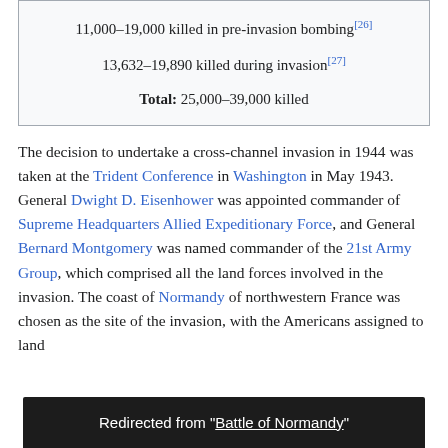| 11,000–19,000 killed in pre-invasion bombing[26] |
| 13,632–19,890 killed during invasion[27] |
| Total: 25,000–39,000 killed |
The decision to undertake a cross-channel invasion in 1944 was taken at the Trident Conference in Washington in May 1943. General Dwight D. Eisenhower was appointed commander of Supreme Headquarters Allied Expeditionary Force, and General Bernard Montgomery was named commander of the 21st Army Group, which comprised all the land forces involved in the invasion. The coast of Normandy of northwestern France was chosen as the site of the invasion, with the Americans assigned to land [at] … and the Canadians at Juno. To meet the conditions …
Redirected from "Battle of Normandy"